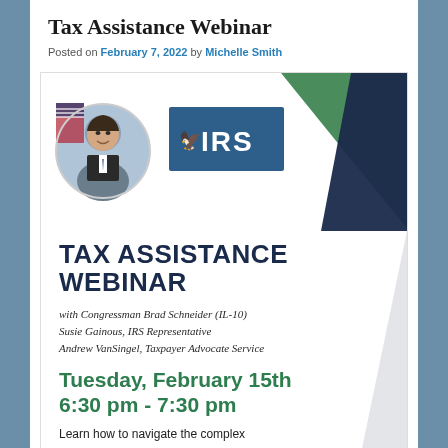Tax Assistance Webinar
Posted on February 7, 2022 by Michelle Smith
[Figure (illustration): Flyer card showing a circular portrait photo of Congressman Brad Schneider, IRS logo in dark blue rectangle, green and navy geometric triangle shapes on the right, large bold text TAX ASSISTANCE WEBINAR, speaker names in italic, event date Tuesday February 15th 6:30 pm - 7:30 pm in green, and partial text Learn how to navigate the complex...]
with Congressman Brad Schneider (IL-10)
Susie Gainous, IRS Representative
Andrew VanSingel, Taxpayer Advocate Service
Tuesday, February 15th
6:30 pm - 7:30 pm
Learn how to navigate the complex